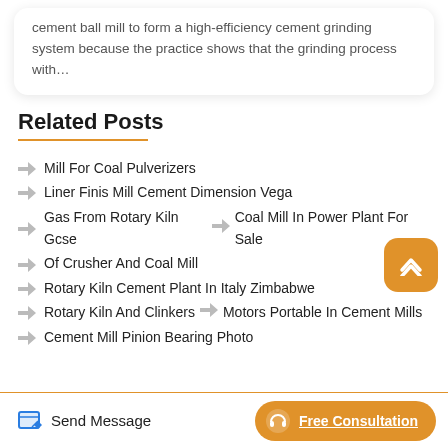cement ball mill to form a high-efficiency cement grinding system because the practice shows that the grinding process with…
Related Posts
Mill For Coal Pulverizers
Liner Finis Mill Cement Dimension Vega
Gas From Rotary Kiln Gcse   →   Coal Mill In Power Plant For Sale
Of Crusher And Coal Mill
Rotary Kiln Cement Plant In Italy Zimbabwe
Rotary Kiln And Clinkers   →   Motors Portable In Cement Mills
Cement Mill Pinion Bearing Photo
Send Message   Free Consultation